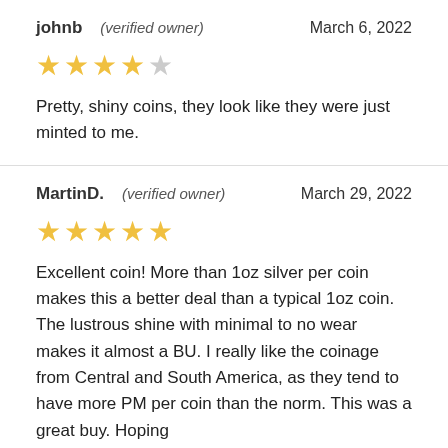johnb   (verified owner)   March 6, 2022
[Figure (other): 4 out of 5 stars rating]
Pretty, shiny coins, they look like they were just minted to me.
MartinD.   (verified owner)   March 29, 2022
[Figure (other): 5 out of 5 stars rating]
Excellent coin! More than 1oz silver per coin makes this a better deal than a typical 1oz coin. The lustrous shine with minimal to no wear makes it almost a BU. I really like the coinage from Central and South America, as they tend to have more PM per coin than the norm. This was a great buy. Hoping